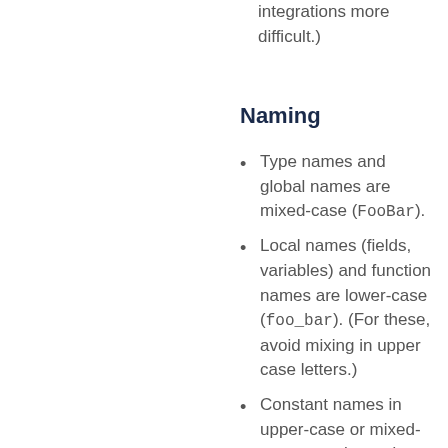integrations more difficult.)
Naming
Type names and global names are mixed-case (FooBar).
Local names (fields, variables) and function names are lower-case (foo_bar). (For these, avoid mixing in upper case letters.)
Constant names in upper-case or mixed-case are tolerated, according to historical necessity.
Constant names